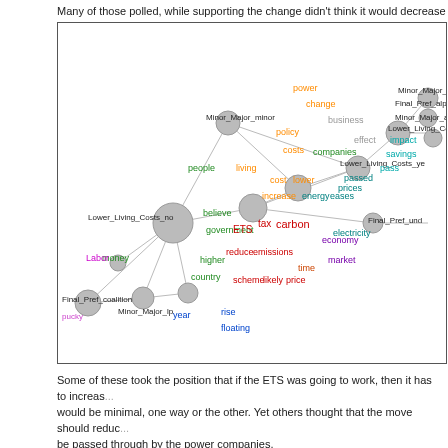Many of those polled, while supporting the change didn't think it would decrease the co...
[Figure (network-graph): Network graph showing nodes labeled with political categories (Minor_Major_grn, Final_Pref_alp, Minor_Major_alp, Lower_Living_Costs_yes, Final_Pref_und, Lower_Living_Costs_no, Final_Pref_coalition, Minor_Major_lp, Minor_Major_minor) connected by gray edges, with colored keyword terms around them including: power, change, business, policy, costs, living, cost, lower, increase, energy, eases, prices, passed, ETS, tax, carbon, reduce, emissions, economy, time, market, scheme, likely, price, people, believe, government, money, higher, country, Labor, rise, floating, year, impact, effect, savings, pass, electricity, companies]
Some of these took the position that if the ETS was going to work, then it has to increas... would be minimal, one way or the other. Yet others thought that the move should reduc... be passed through by the power companies.